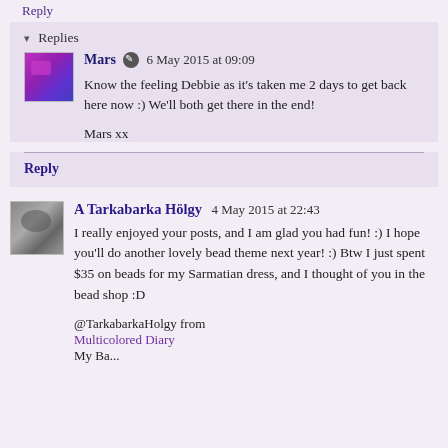Reply
▾ Replies
Mars 6 May 2015 at 09:09
Know the feeling Debbie as it's taken me 2 days to get back here now :) We'll both get there in the end!

Mars xx
Reply
A Tarkabarka Hölgy 4 May 2015 at 22:43
I really enjoyed your posts, and I am glad you had fun! :) I hope you'll do another lovely bead theme next year! :) Btw I just spent $35 on beads for my Sarmatian dress, and I thought of you in the bead shop :D

@TarkabarkaHolgy from
Multicolored Diary
My Ba...